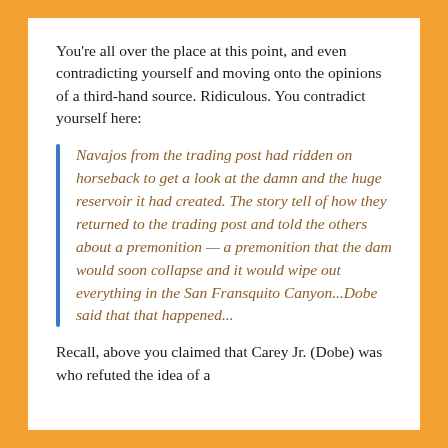You're all over the place at this point, and even contradicting yourself and moving onto the opinions of a third-hand source. Ridiculous. You contradict yourself here:
Navajos from the trading post had ridden on horseback to get a look at the damn and the huge reservoir it had created. The story tell of how they returned to the trading post and told the others about a premonition — a premonition that the dam would soon collapse and it would wipe out everything in the San Fransquito Canyon...Dobe said that that happened...
Recall, above you claimed that Carey Jr. (Dobe) was who refuted the idea of a